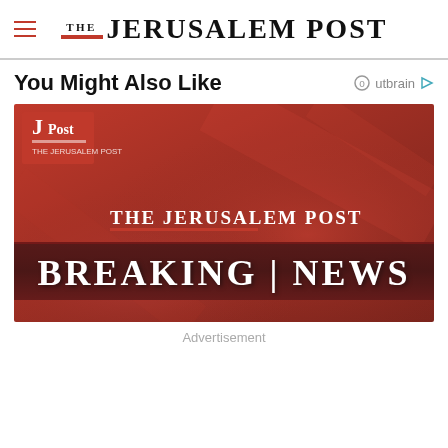THE JERUSALEM POST
You Might Also Like
[Figure (illustration): The Jerusalem Post Breaking News banner image with red background, JPost logo in top left corner, and 'BREAKING | NEWS' text overlay on dark red band]
Advertisement